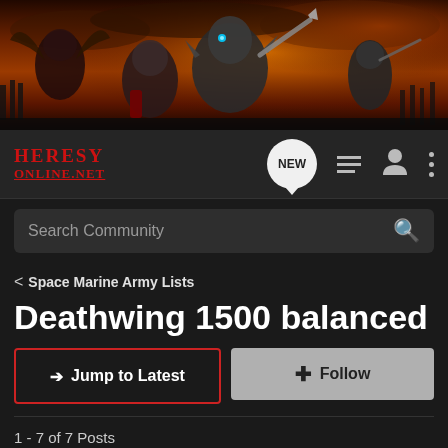[Figure (illustration): Fantasy battle scene banner with warriors, creatures, fire and dramatic sky in dark orange/red tones]
HERESY ONLINE.NET navigation bar with NEW posts button, list icon, user icon, and menu dots
Search Community
< Space Marine Army Lists
Deathwing 1500 balanced
→ Jump to Latest
+ Follow
1 - 7 of 7 Posts
Stormxlr · Registered
Joined Sep 11, 2013 · 443 Posts